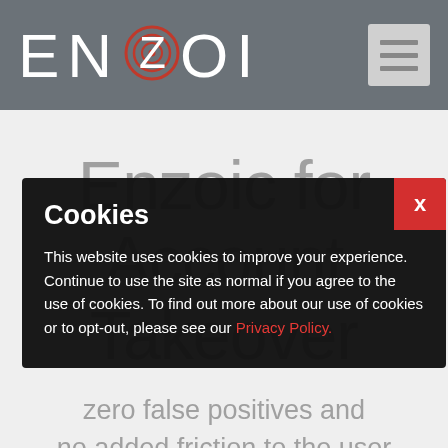ENZOIC
Enzoic for Account Takeover
zero false positives and no added friction to the user
Cookies
This website uses cookies to improve your experience. Continue to use the site as normal if you agree to the use of cookies. To find out more about our use of cookies or to opt-out, please see our Privacy Policy.